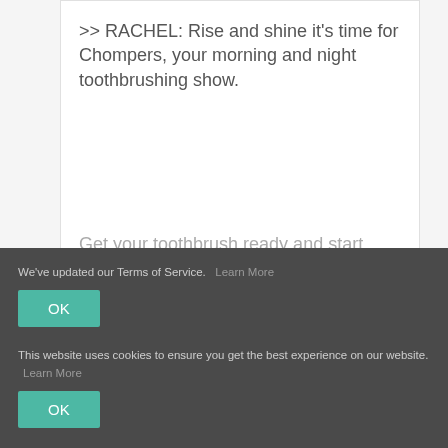>> RACHEL: Rise and shine it's time for Chompers, your morning and night toothbrushing show.
Get your toothbrush ready and start brushing on the top of your mouth on one side, but don't brush too hard.
We've updated our Terms of Service. Learn More
OK
This website uses cookies to ensure you get the best experience on our website. Learn More
OK